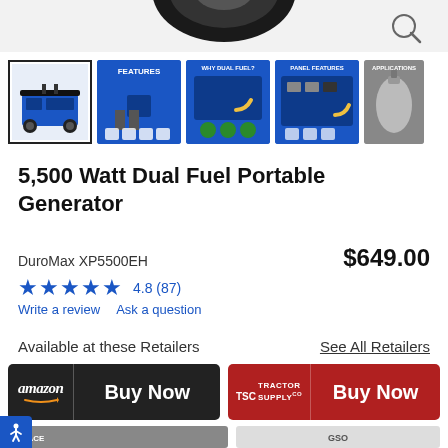[Figure (photo): Partial top view of a blue portable generator on white background with magnifier/search icon in top right]
[Figure (photo): Row of 5 product thumbnail images of DuroMax XP5500EH dual fuel generator: main product shot (selected), features image, why dual fuel image, panel features image, applications image (partially visible)]
5,500 Watt Dual Fuel Portable Generator
DuroMax XP5500EH
$649.00
★★★★★ 4.8 (87)
Write a review   Ask a question
Available at these Retailers
See All Retailers
[Figure (screenshot): Amazon Buy Now button (black background with amazon logo and orange arrow, white Buy Now text)]
[Figure (screenshot): Tractor Supply Co Buy Now button (red background with TSC logo and white Buy Now text)]
[Figure (screenshot): Partially visible second row of retailer buy buttons at bottom of page]